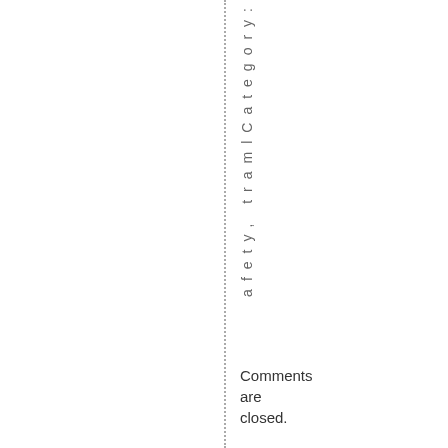afety, tramlCategory:
Comments are closed.